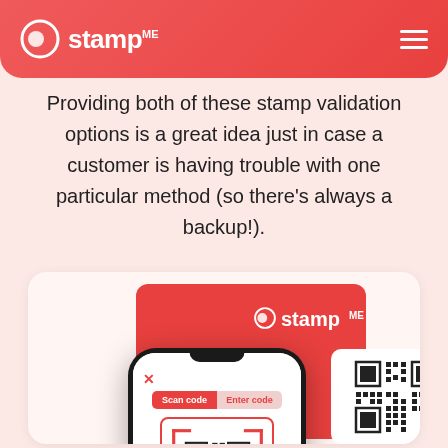stamp ME
Providing both of these stamp validation options is a great idea just in case a customer is having trouble with one particular method (so there’s always a backup!).
[Figure (photo): Smartphone displaying Stamp Me app with 'Scan code' and 'Enter code' tabs and a QR code scanner, shown in front of a red Stamp Me branded card displaying a QR code.]